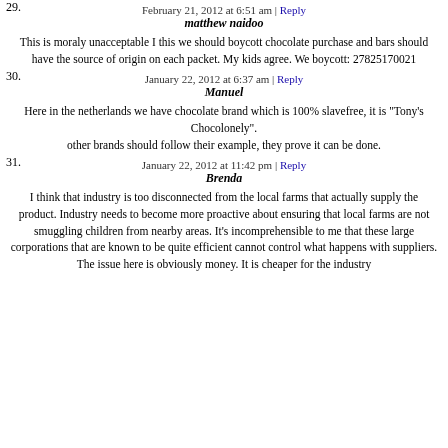February 21, 2012 at 6:51 am | Reply
29. matthew naidoo
This is moraly unacceptable I this we should boycott chocolate purchase and bars should have the source of origin on each packet. My kids agree. We boycott: 27825170021
January 22, 2012 at 6:37 am | Reply
30. Manuel
Here in the netherlands we have chocolate brand which is 100% slavefree, it is "Tony's Chocolonely". other brands should follow their example, they prove it can be done.
January 22, 2012 at 11:42 pm | Reply
31. Brenda
I think that industry is too disconnected from the local farms that actually supply the product. Industry needs to become more proactive about ensuring that local farms are not smuggling children from nearby areas. It's incomprehensible to me that these large corporations that are known to be quite efficient cannot control what happens with suppliers. The issue here is obviously money. It is cheaper for the industry